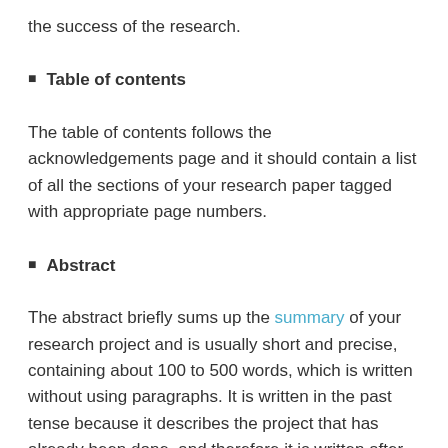the success of the research.
Table of contents
The table of contents follows the acknowledgements page and it should contain a list of all the sections of your research paper tagged with appropriate page numbers.
Abstract
The abstract briefly sums up the summary of your research project and is usually short and precise, containing about 100 to 500 words, which is written without using paragraphs. It is written in the past tense because it describes the project that has already been done, and therefore it is written after the completion of your project. An abstract contains the following information